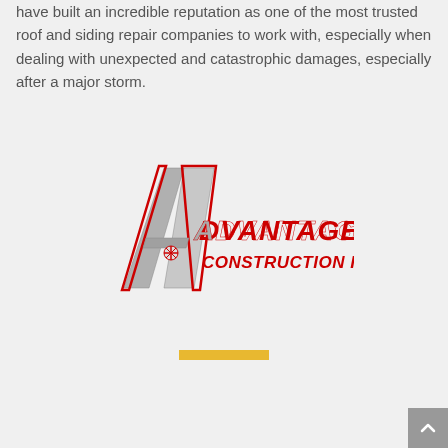have built an incredible reputation as one of the most trusted roof and siding repair companies to work with, especially when dealing with unexpected and catastrophic damages, especially after a major storm.
[Figure (logo): Advantage Construction Inc. logo with stylized letter A and italic red text]